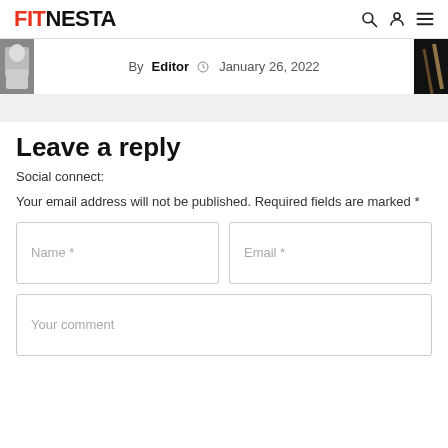FITNESTA
By Editor  January 26, 2022
Leave a reply
Social connect:
Your email address will not be published. Required fields are marked *
Name *
Email *
Your comment